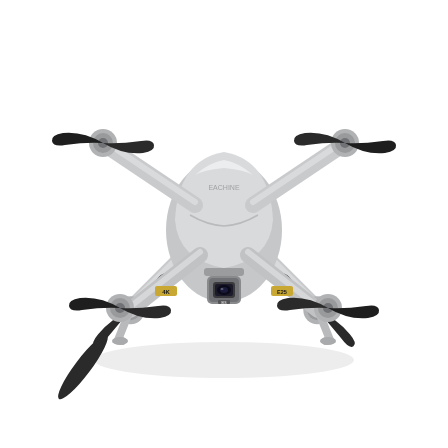[Figure (photo): A white consumer quadcopter drone photographed from above at a slight angle. The drone has four arms extending diagonally, each terminating in a motor with a dark gray/black two-blade propeller. The body is light gray/white with a rounded top cover. Small gold and black label stickers reading '4K' are visible on the arms. Landing legs extend below the front arms. A camera gimbal unit is mounted on the underside front of the drone body. The background is white.]